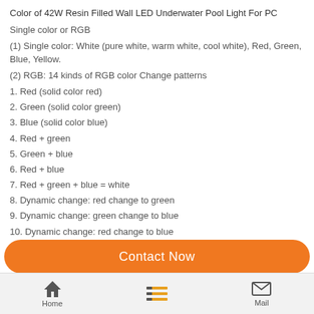Color of 42W Resin Filled Wall LED Underwater Pool Light For PC
Single color or RGB
(1) Single color: White (pure white, warm white, cool white), Red, Green, Blue, Yellow.
(2) RGB: 14 kinds of RGB color Change patterns
1. Red (solid color red)
2. Green (solid color green)
3. Blue (solid color blue)
4. Red + green
5. Green + blue
6. Red + blue
7. Red + green + blue = white
8. Dynamic change: red change to green
9. Dynamic change: green change to blue
10. Dynamic change: red change to blue
Contact Now | Home | Mail